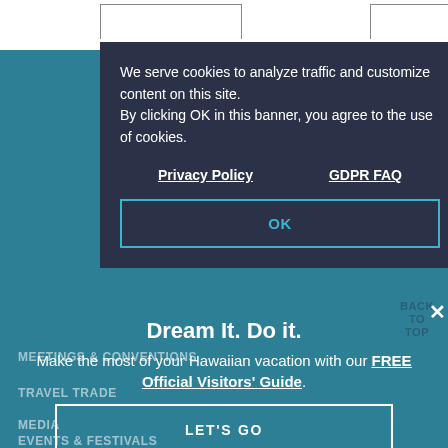[Figure (screenshot): Cookie consent banner overlay on a dark navy background with Privacy Policy and GDPR FAQ links and an OK button with teal border]
We serve cookies to analyze traffic and customize content on this site. By clicking OK in this banner, you agree to the use of cookies.
Privacy Policy    GDPR FAQ
OK
BACK TO TOP
Dream It. Do it.
Make the most of your Hawaiian vacation with our FREE Official Visitors' Guide.
LET'S GO
MEETINGS & CONVENTIONS
TRAVEL TRADE
MEDIA
EVENTS & FESTIVALS